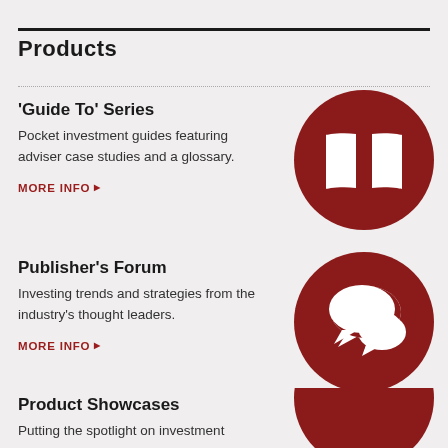Products
'Guide To' Series
Pocket investment guides featuring adviser case studies and a glossary.
MORE INFO ▶
[Figure (illustration): Dark red circle with white open book icon]
Publisher's Forum
Investing trends and strategies from the industry's thought leaders.
MORE INFO ▶
[Figure (illustration): Dark red circle with white speech bubbles / chat icon]
Product Showcases
Putting the spotlight on investment
[Figure (illustration): Dark red circle partially visible at bottom right]